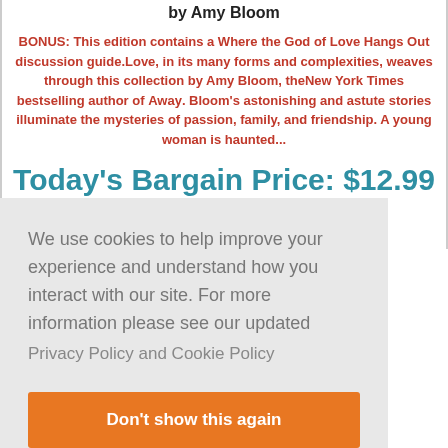by Amy Bloom
BONUS: This edition contains a Where the God of Love Hangs Out discussion guide.Love, in its many forms and complexities, weaves through this collection by Amy Bloom, theNew York Times bestselling author of Away. Bloom's astonishing and astute stories illuminate the mysteries of passion, family, and friendship. A young woman is haunted...
Today's Bargain Price: $12.99
Buy Now at Amazon
We use cookies to help improve your experience and understand how you interact with our site. For more information please see our updated
Privacy Policy and Cookie Policy
Don't show this again